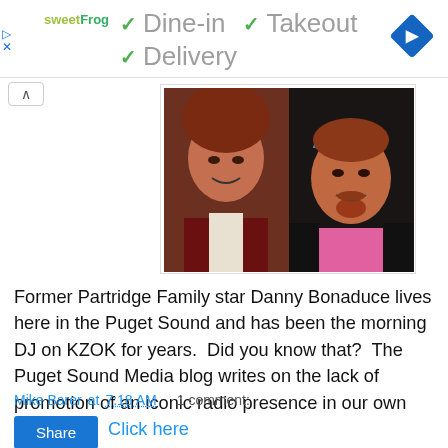[Figure (screenshot): Advertisement banner for sweetFrog with checkmarks for Dine-in, Takeout, Delivery options and a blue navigation diamond icon]
[Figure (photo): Side-by-side photos of Danny Bonaduce as a child (left, red hair, maroon jacket) and as an adult (right, goatee, pink shirt, dark jacket)]
Former Partridge Family star Danny Bonaduce lives here in the Puget Sound and has been the morning DJ on KZOK for years.  Did you know that?  The Puget Sound Media blog writes on the lack of promotion of an iconic radio presence in our own back yard.  Click here
Mike Barer at 7:18 AM    1 comment:
Share